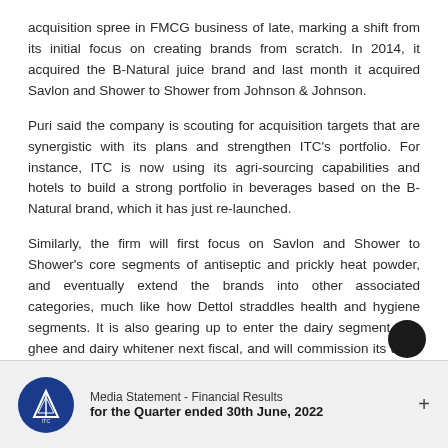acquisition spree in FMCG business of late, marking a shift from its initial focus on creating brands from scratch. In 2014, it acquired the B-Natural juice brand and last month it acquired Savlon and Shower to Shower from Johnson & Johnson.
Puri said the company is scouting for acquisition targets that are synergistic with its plans and strengthen ITC's portfolio. For instance, ITC is now using its agri-sourcing capabilities and hotels to build a strong portfolio in beverages based on the B-Natural brand, which it has just re-launched.
Similarly, the firm will first focus on Savlon and Shower to Shower's core segments of antiseptic and prickly heat powder, and eventually extend the brands into other associated categories, much like how Dettol straddles health and hygiene segments. It is also gearing up to enter the dairy segment with ghee and dairy whitener next fiscal, and will commission its dairy plant in a month
Media Statement - Financial Results for the Quarter ended 30th June, 2022